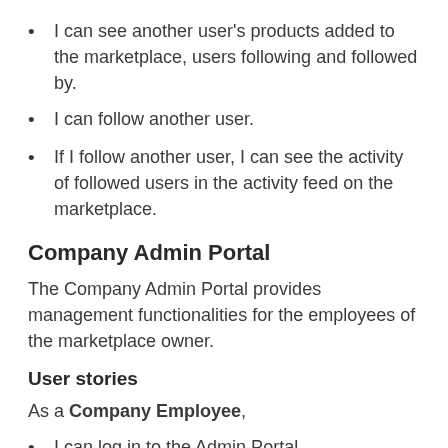I can see another user's products added to the marketplace, users following and followed by.
I can follow another user.
If I follow another user, I can see the activity of followed users in the activity feed on the marketplace.
Company Admin Portal
The Company Admin Portal provides management functionalities for the employees of the marketplace owner.
User stories
As a Company Employee,
I can log in to the Admin Portal.
I can see all the sold items.